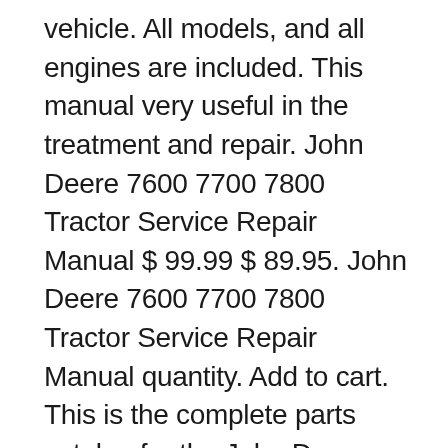vehicle. All models, and all engines are included. This manual very useful in the treatment and repair. John Deere 7600 7700 7800 Tractor Service Repair Manual $ 99.99 $ 89.95. John Deere 7600 7700 7800 Tractor Service Repair Manual quantity. Add to cart. This is the complete parts catalog for the John Deere 3300 combine. This parts book contains exploded parts views and product codes for every component of the 3300 combine. An absolute must if you are rebuilding, taking apart, or purchasing a part for your JD combine.
Presenting John Deere 7700 available now on the internet. Find an expansive array of john deere 7700 available to buy right now on the internet. John Deere. John Deere Parts Chaffer